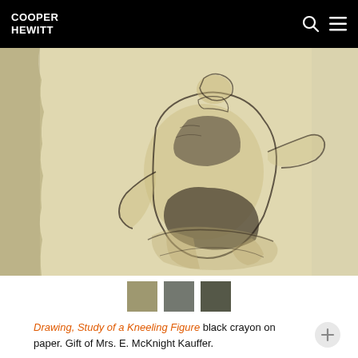COOPER HEWITT
[Figure (illustration): A black crayon sketch on cream/yellow paper showing the back view of a kneeling figure, rendered with expressive charcoal-like strokes. The figure appears to be a heavyset person seen from behind, kneeling or crouching, with loose fabric visible.]
[Figure (other): Three color swatches sampled from the artwork: a warm tan/khaki, a medium grey-green, and a dark olive/charcoal green.]
Drawing, Study of a Kneeling Figure black crayon on paper. Gift of Mrs. E. McKnight Kauffer. 1960-30-552